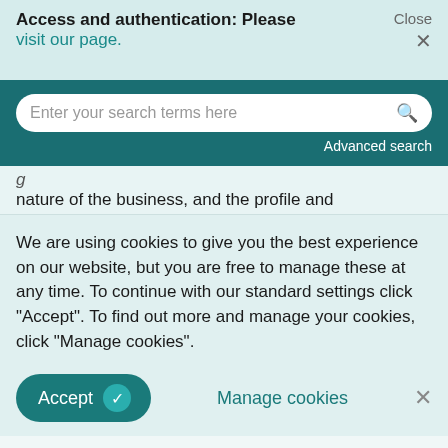Access and authentication: Please visit our page.  Close ×
Enter your search terms here  Advanced search
nature of the business, and the profile and
We are using cookies to give you the best experience on our website, but you are free to manage these at any time. To continue with our standard settings click "Accept". To find out more and manage your cookies, click "Manage cookies".
Accept  Manage cookies  ×
Ordsall Lane for which, not without difficulty, it eventually obtained planning permission for cash